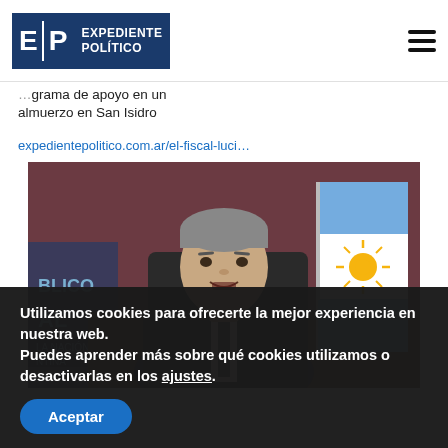Expediente Político
almuerzo en San Isidro
expedientepolitico.com.ar/el-fiscal-luci…
[Figure (photo): Man in suit speaking at desk with Argentine flag in background; partial text 'BLICO' and 'AL' and 'LA NACIÓN' visible on left side]
Utilizamos cookies para ofrecerte la mejor experiencia en nuestra web.
Puedes aprender más sobre qué cookies utilizamos o desactivarlas en los ajustes.
Aceptar